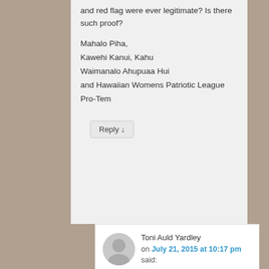and red flag were ever legitimate? Is there such proof?
Mahalo Piha,
Kawehi Kanui, Kahu
Waimanalo Ahupuaa Hui
and Hawaiian Womens Patriotic League
Pro-Tem
Reply ↓
Toni Auld Yardley on July 21, 2015 at 10:17 pm said:
There is more about the symbol on our Coat of Arms:
The triangular flag at the fess point, was an ancient flag of the Hawaiian chiefs which was raised at sea, above the sail of their canoes, and the sail at that time being